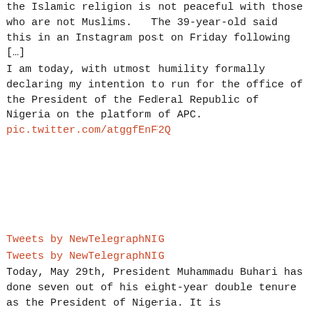the Islamic religion is not peaceful with those who are not Muslims.   The 39-year-old said this in an Instagram post on Friday following […]
I am today, with utmost humility formally declaring my intention to run for the office of the President of the Federal Republic of Nigeria on the platform of APC.
pic.twitter.com/atggfEnF2Q
Tweets by NewTelegraphNIG
Tweets by NewTelegraphNIG
Today, May 29th, President Muhammadu Buhari has done seven out of his eight-year double tenure as the President of Nigeria. It is